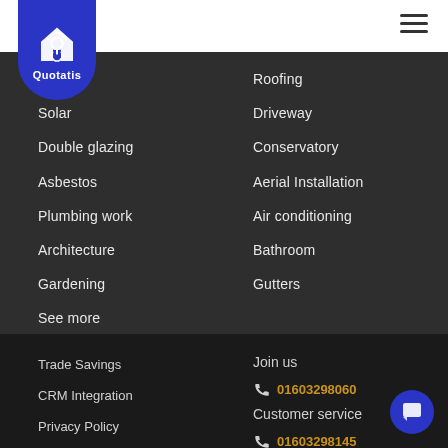[Figure (logo): Quotatis logo — house outline icon on blue badge shape with text Quotatis]
Boiler
Solar
Double glazing
Asbestos
Plumbing work
Architecture
Gardening
See more
Roofing
Driveway
Conservatory
Aerial Installation
Air conditioning
Bathroom
Gutters
Trade Savings
CRM Integration
Privacy Policy
About Us
Contacts
Join us
01603298060
Customer service
01603298145
iPhone App